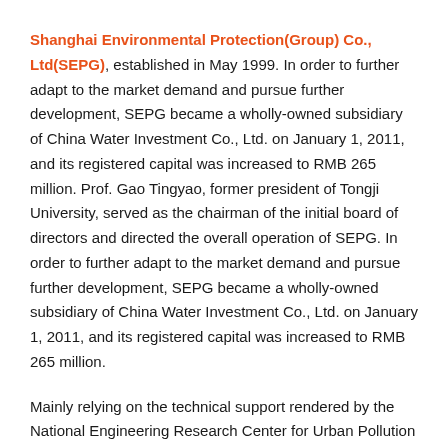Shanghai Environmental Protection(Group) Co., Ltd(SEPG), established in May 1999. In order to further adapt to the market demand and pursue further development, SEPG became a wholly-owned subsidiary of China Water Investment Co., Ltd. on January 1, 2011, and its registered capital was increased to RMB 265 million. Prof. Gao Tingyao, former president of Tongji University, served as the chairman of the initial board of directors and directed the overall operation of SEPG. In order to further adapt to the market demand and pursue further development, SEPG became a wholly-owned subsidiary of China Water Investment Co., Ltd. on January 1, 2011, and its registered capital was increased to RMB 265 million.
Mainly relying on the technical support rendered by the National Engineering Research Center for Urban Pollution Control,